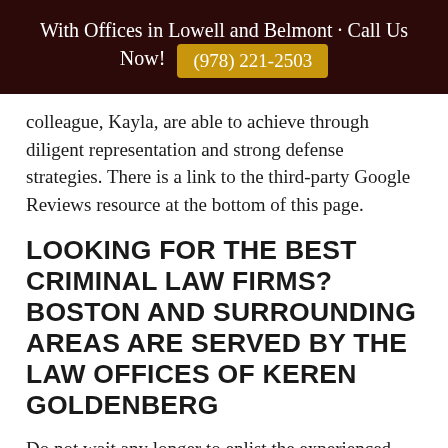With Offices in Lowell and Belmont · Call Us Now! (978) 221-2503
colleague, Kayla, are able to achieve through diligent representation and strong defense strategies. There is a link to the third-party Google Reviews resource at the bottom of this page.
LOOKING FOR THE BEST CRIMINAL LAW FIRMS? BOSTON AND SURROUNDING AREAS ARE SERVED BY THE LAW OFFICES OF KEREN GOLDENBERG
Do not wait any longer to enlist the experienced guidance you need, if you are facing criminal charges in Massachusetts. The professionals at the Law Offices of Keren Goldenberg are here to help.